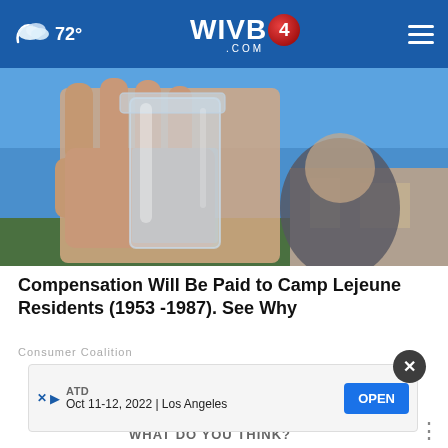☁ 72° | WIVB4.COM
[Figure (photo): A person holding up a glass jar of clear water outdoors with a blue sky background]
Compensation Will Be Paid to Camp Lejeune Residents (1953 -1987). See Why
Consumer Coalition
[Figure (screenshot): Advertisement banner: ATD, Oct 11-12, 2022 | Los Angeles, with OPEN button]
WHAT DO YOU THINK?